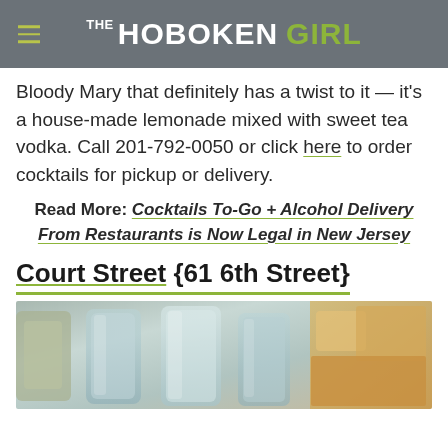THE HOBOKEN GIRL
Bloody Mary that definitely has a twist to it — it's a house-made lemonade mixed with sweet tea vodka. Call 201-792-0050 or click here to order cocktails for pickup or delivery.
Read More: Cocktails To-Go + Alcohol Delivery From Restaurants is Now Legal in New Jersey
Court Street {61 6th Street}
[Figure (photo): Photo showing multiple cocktail glasses with drinks, and food items on the right side]